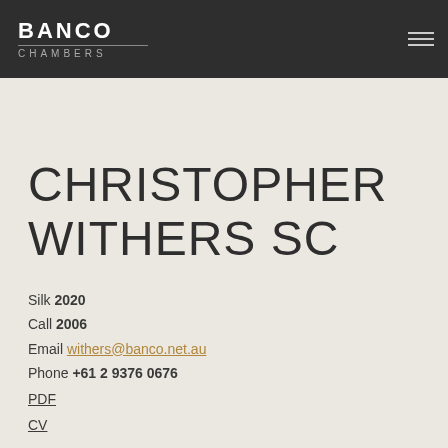BANCO CHAMBERS
CHRISTOPHER WITHERS SC
Silk 2020
Call 2006
Email withers@banco.net.au
Phone +61 2 9376 0676
PDF
CV